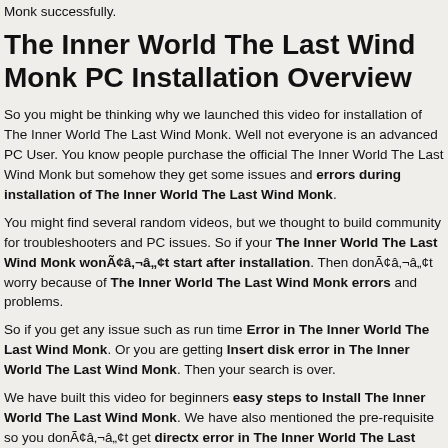Monk successfully.
The Inner World The Last Wind Monk PC Installation Overview
So you might be thinking why we launched this video for installation of The Inner World The Last Wind Monk. Well not everyone is an advanced PC User. You know people purchase the official The Inner World The Last Wind Monk but somehow they get some issues and errors during installation of The Inner World The Last Wind Monk.
You might find several random videos, but we thought to build community for troubleshooters and PC issues. So if your The Inner World The Last Wind Monk wonÃ¢â‚¬â„¢t start after installation. Then donÃ¢â‚¬â„¢t worry because of The Inner World The Last Wind Monk errors and problems.
So if you get any issue such as run time Error in The Inner World The Last Wind Monk. Or you are getting Insert disk error in The Inner World The Last Wind Monk. Then your search is over.
We have built this video for beginners easy steps to Install The Inner World The Last Wind Monk. We have also mentioned the pre-requisite so you donÃ¢â‚¬â„¢t get directx error in The Inner World The Last Wind Monk installation and playing.